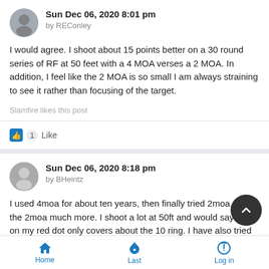Sun Dec 06, 2020 8:01 pm
by REConley
I would agree. I shoot about 15 points better on a 30 round series of RF at 50 feet with a 4 MOA verses a 2 MOA. In addition, I feel like the 2 MOA is so small I am always straining to see it rather than focusing of the target.
Slamfire likes this post
1 Like
Sun Dec 06, 2020 8:18 pm
by BHeintz
I used 4moa for about ten years, then finally tried 2moa. I like the 2moa much more. I shoot a lot at 50ft and would say the 2 on my red dot only covers about the 10 ring. I have also tried bigger dots and did not like it. I still shot ok but but it's not
Home  Last  Log in